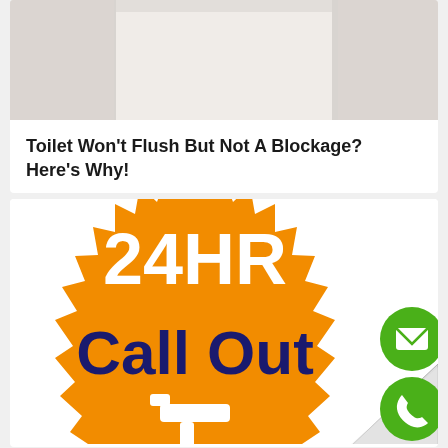[Figure (photo): Partial view of a white toilet tank, cropped at the top portion]
Toilet Won't Flush But Not A Blockage? Here's Why!
[Figure (infographic): Orange starburst badge with '24HR Call Out' text in dark navy blue, white faucet/tap icon at bottom, with a curling page peel effect at bottom right. Two green circular buttons on the right side — one with an envelope icon (email) and one with a phone/handset icon.]